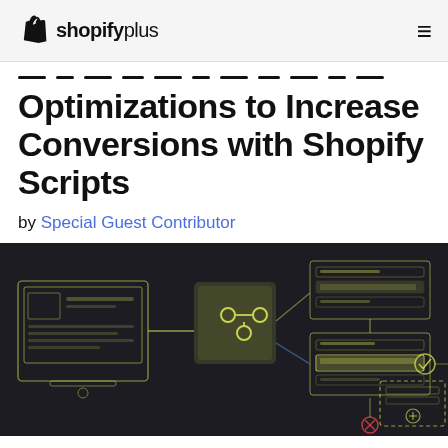shopifyplus
Optimizations to Increase Conversions with Shopify Scripts
by Special Guest Contributor
[Figure (infographic): Dark background infographic showing a Shopify Scripts workflow diagram with yellow-outlined boxes, a git-branch-like icon in a yellow box, and connected UI wireframe elements representing checkout script logic flow.]